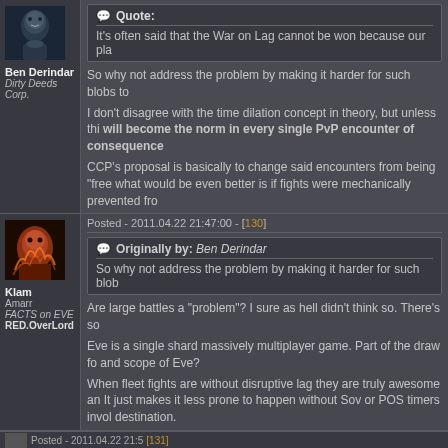[Figure (photo): Avatar of user Ben Derindar - a sci-fi character portrait with dark blue tones]
Ben Derindar
Dirty Deeds Corp.
Quote:
It's often said that the War on Lag cannot be won because our pla
So why not address the problem by making it harder for such blobs to
I don't disagree with the time dilation concept in theory, but unless thi will become the norm in every single PvP encounter of consequence
CCP's proposal is basically to change said encounters from being "free what would be even better is if fights were mechanically prevented fro
Posted - 2011.04.22 21:47:00 - [130]
[Figure (photo): Avatar of user Klam - a dramatic sci-fi portrait with fire and dark tones]
Klam
Amarr
FACTS on EVE
RED.OverLord
Originally by: Ben Derindar
So why not address the problem by making it harder for such blob
Are large battles a "problem"? I sure as hell didn't think so. There's so
Eve is a single shard massively multiplayer game. Part of the draw fo and scope of Eve?
When fleet fights are without disruptive lag they are truly awesome an It just makes it less prone to happen without Sov or POS timers invol destination.